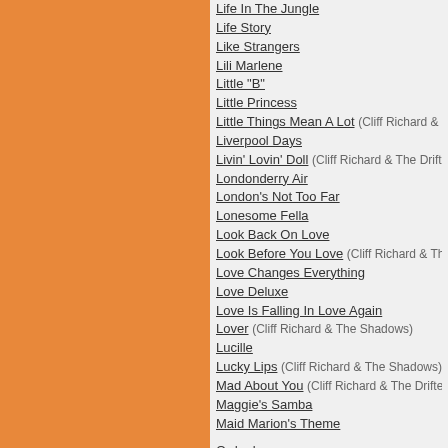Life In The Jungle
Life Story
Like Strangers
Lili Marlene
Little "B"
Little Princess
Little Things Mean A Lot (Cliff Richard & The Sha...)
Liverpool Days
Livin' Lovin' Doll (Cliff Richard & The Drifters)
Londonderry Air
London's Not Too Far
Lonesome Fella
Look Back On Love
Look Before You Love (Cliff Richard & The Shado...)
Love Changes Everything
Love Deluxe
Love Is Falling In Love Again
Lover (Cliff Richard & The Shadows)
Lucille
Lucky Lips (Cliff Richard & The Shadows)
Mad About You (Cliff Richard & The Drifters)
Maggie's Samba
Maid Marion's Theme
Order by year
Add a song
ALBUMS BY THE SHADOWS
"Live" At Abbey Road
20 Golden Greats
20 Golden Greats Volume 2
20 Greatest Hits
20 Jaar Hits Deel 2
20 Original Greats (Cliff Richard & The Shadows)
20 Rock 'N' Roll Hits
30th Anniversary Picture Record Collection (Cliff Richard & The Shadows)